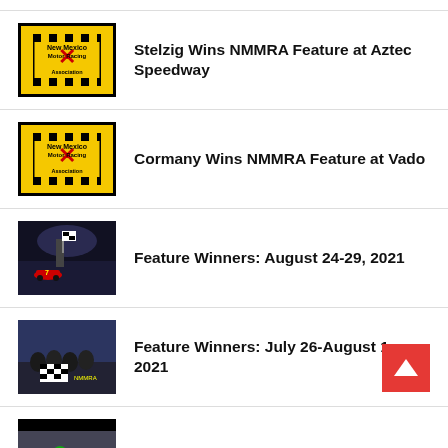[Figure (logo): New Mexico Motor Racing Association logo on yellow background with checkered flag pattern]
Stelzig Wins NMMRA Feature at Aztec Speedway
[Figure (logo): New Mexico Motor Racing Association logo on yellow background with checkered flag pattern]
Cormany Wins NMMRA Feature at Vado
[Figure (photo): Racing driver celebrating victory with checkered flag at night race]
Feature Winners: August 24-29, 2021
[Figure (photo): Group photo at race track with checkered flag board]
Feature Winners: July 26-August 1, 2021
[Figure (photo): Photo at race track]
Feature Winners: June 14-20, 2021